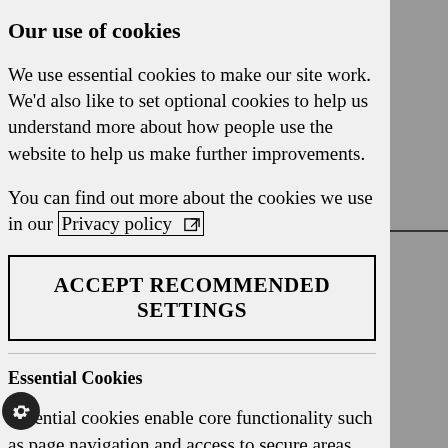Our use of cookies
We use essential cookies to make our site work. We'd also like to set optional cookies to help us understand more about how people use the website to help us make further improvements.
You can find out more about the cookies we use in our Privacy policy
ACCEPT RECOMMENDED SETTINGS
Essential Cookies
Essential cookies enable core functionality such as page navigation and access to secure areas. The website cannot function properly without